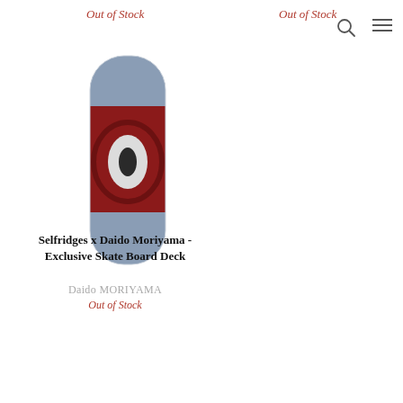Out of Stock
Out of Stock
[Figure (photo): A skateboard deck displayed vertically, featuring a close-up photographic image of an eye with red surroundings against a blue-grey background, by Daido Moriyama.]
Selfridges x Daido Moriyama - Exclusive Skate Board Deck
Daido MORIYAMA
Out of Stock